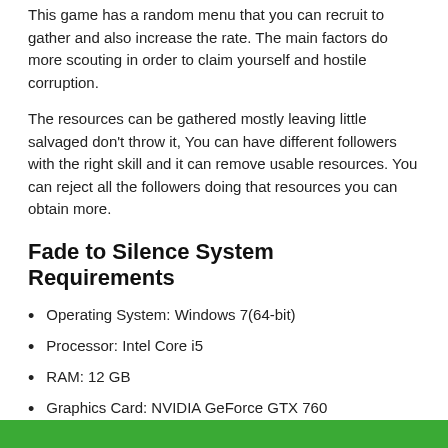This game has a random menu that you can recruit to gather and also increase the rate. The main factors do more scouting in order to claim yourself and hostile corruption.
The resources can be gathered mostly leaving little salvaged don't throw it, You can have different followers with the right skill and it can remove usable resources. You can reject all the followers doing that resources you can obtain more.
Fade to Silence System Requirements
Operating System: Windows 7(64-bit)
Processor: Intel Core i5
RAM: 12 GB
Graphics Card: NVIDIA GeForce GTX 760
Free Disk Space: 30 GB
Download